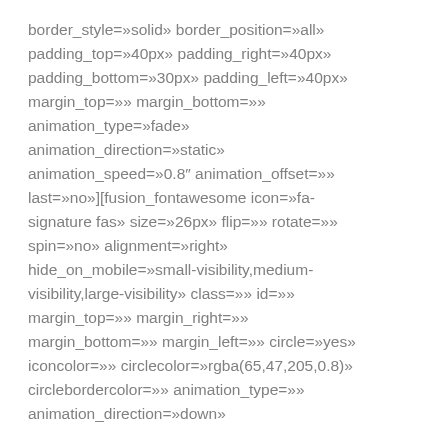border_style=»solid» border_position=»all» padding_top=»40px» padding_right=»40px» padding_bottom=»30px» padding_left=»40px» margin_top=»» margin_bottom=»» animation_type=»fade» animation_direction=»static» animation_speed=»0.8″ animation_offset=»» last=»no»][fusion_fontawesome icon=»fa-signature fas» size=»26px» flip=»» rotate=»» spin=»no» alignment=»right» hide_on_mobile=»small-visibility,medium-visibility,large-visibility» class=»» id=»» margin_top=»» margin_right=»» margin_bottom=»» margin_left=»» circle=»yes» iconcolor=»» circlecolor=»rgba(65,47,205,0.8)» circlebordercolor=»» animation_type=»» animation_direction=»down»